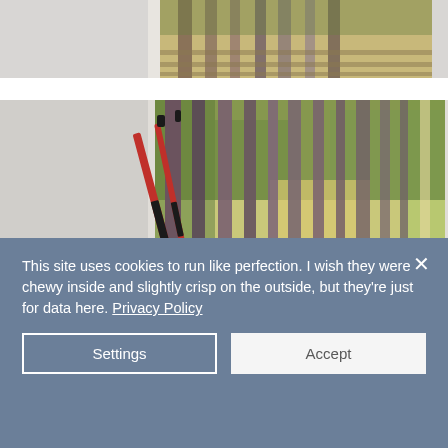[Figure (photo): Partial top view of a painting of trees/forest scene with dappled light, cropped at the top of the page]
[Figure (photo): Painting of tall trees in a forest with paintbrushes laid beside it on a white surface. The painting shows tall purple/brown tree trunks with green foliage and dappled sunlight.]
This site uses cookies to run like perfection. I wish they were chewy inside and slightly crisp on the outside, but they're just for data here. Privacy Policy